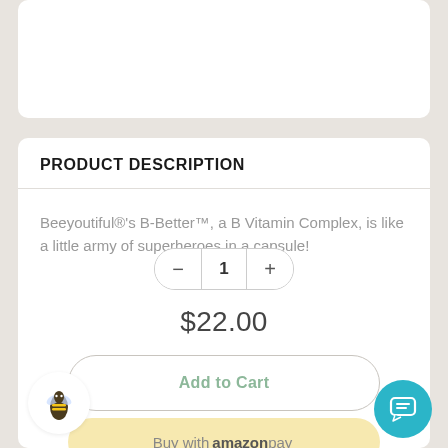PRODUCT DESCRIPTION
Beeyoutiful®'s B-Better™, a B Vitamin Complex, is like a little army of superheroes in a capsule!
1
$22.00
Add to Cart
Buy with amazon pay
[Figure (logo): Bee logo circle in white]
[Figure (illustration): Teal chat/messaging button circle]